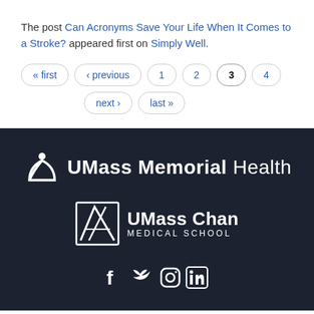The post Can Acronyms Save Your Life When It Comes to a Stroke? appeared first on Simply Well.
« first  ‹ previous  1  2  3  4  next ›  last »
[Figure (logo): UMass Memorial Health logo with white icon and text on dark background]
[Figure (logo): UMass Chan Medical School logo with white shield icon and text on dark background]
[Figure (other): Social media icons: Facebook, Twitter, Instagram, LinkedIn in white]